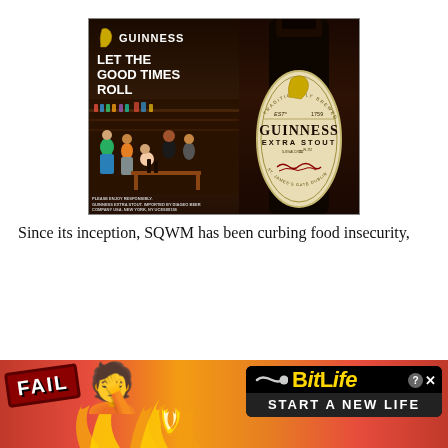[Figure (photo): Guinness advertisement showing 'LET THE GOOD TIMES ROLL' with people socializing and a Guinness Extra Stout bottle with label showing EST 1759, harp logo, and signature. Disclaimer text at bottom: PLEASE ENJOY RESPONSIBLY. GUINNESS EXTRA STOUT, IMPORTED BY DIAGEO BEER COMPANY USA, NEW YORK, NY UCES00158]
Since its inception, SQWM has been curbing food insecurity,
[Figure (photo): BitLife advertisement banner with red/orange/yellow flame background, FAIL badge, face-palm emoji, fire flames, sperm icon, BitLife logo in yellow on black, and 'START A NEW LIFE' text in white on dark background]